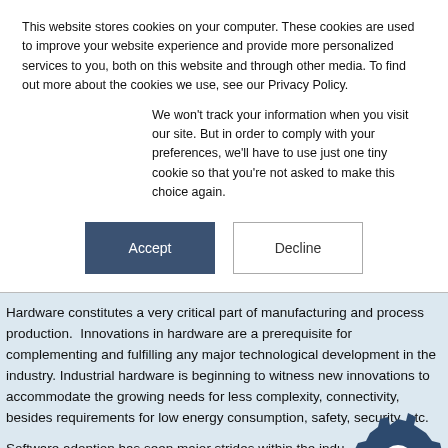This website stores cookies on your computer. These cookies are used to improve your website experience and provide more personalized services to you, both on this website and through other media. To find out more about the cookies we use, see our Privacy Policy.
We won't track your information when you visit our site. But in order to comply with your preferences, we'll have to use just one tiny cookie so that you're not asked to make this choice again.
Accept
Decline
Hardware constitutes a very critical part of manufacturing and process production.  Innovations in hardware are a prerequisite for complementing and fulfilling any major technological development in the industry. Industrial hardware is beginning to witness new innovations to accommodate the growing needs for less complexity, connectivity, besides requirements for low energy consumption, safety, security, etc.
Software adoption has seen major strides within the industry over the last two decades. The application for software has been identified across the entire value-chain of manufacturing, beginning from product design to production and the extended supply chain.
[Figure (logo): Dark blue hexagonal gear/cog icon with circular hole in center, representing industrial or engineering software branding.]
Privacy · Terms